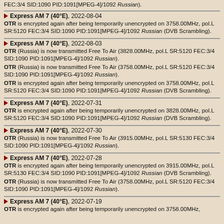FEC:3/4 SID:1090 PID:1091[MPEG-4]/1092 Russian).
Express AM 7 (40°E), 2022-08-04
OTR is encrypted again after being temporarily unencrypted on 3758.00MHz, pol.L SR:5120 FEC:3/4 SID:1090 PID:1091[MPEG-4]/1092 Russian (DVB Scrambling).
Express AM 7 (40°E), 2022-08-03
OTR (Russia) is now transmitted Free To Air (3828.00MHz, pol.L SR:5120 FEC:3/4 SID:1090 PID:1091[MPEG-4]/1092 Russian).
OTR (Russia) is now transmitted Free To Air (3758.00MHz, pol.L SR:5120 FEC:3/4 SID:1090 PID:1091[MPEG-4]/1092 Russian).
OTR is encrypted again after being temporarily unencrypted on 3758.00MHz, pol.L SR:5120 FEC:3/4 SID:1090 PID:1091[MPEG-4]/1092 Russian (DVB Scrambling).
Express AM 7 (40°E), 2022-07-31
OTR is encrypted again after being temporarily unencrypted on 3828.00MHz, pol.L SR:5120 FEC:3/4 SID:1090 PID:1091[MPEG-4]/1092 Russian (DVB Scrambling).
Express AM 7 (40°E), 2022-07-30
OTR (Russia) is now transmitted Free To Air (3915.00MHz, pol.L SR:5130 FEC:3/4 SID:1090 PID:1091[MPEG-4]/1092 Russian).
Express AM 7 (40°E), 2022-07-28
OTR is encrypted again after being temporarily unencrypted on 3915.00MHz, pol.L SR:5130 FEC:3/4 SID:1090 PID:1091[MPEG-4]/1092 Russian (DVB Scrambling).
OTR (Russia) is now transmitted Free To Air (3758.00MHz, pol.L SR:5120 FEC:3/4 SID:1090 PID:1091[MPEG-4]/1092 Russian).
Express AM 7 (40°E), 2022-07-19
OTR is encrypted again after being temporarily unencrypted on 3758.00MHz,